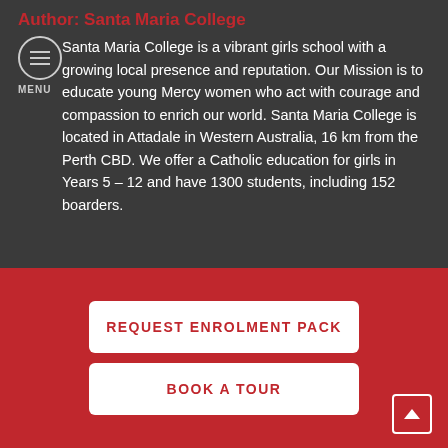Author: Santa Maria College
Santa Maria College is a vibrant girls school with a growing local presence and reputation.  Our Mission is to educate young Mercy women who act with courage and compassion to enrich our world.  Santa Maria College is located in Attadale in Western Australia, 16 km from the Perth CBD.  We offer a Catholic education for girls in Years 5 – 12 and have 1300 students, including 152 boarders.
REQUEST ENROLMENT PACK
BOOK A TOUR